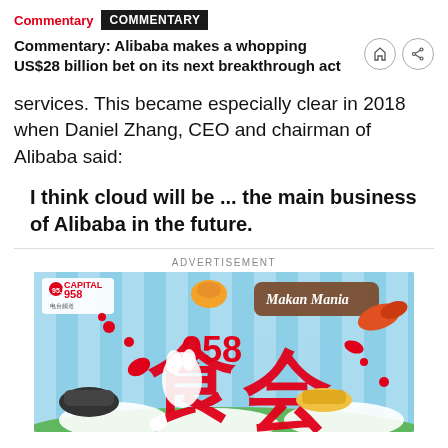Commentary | COMMENTARY
Commentary: Alibaba makes a whopping US$28 billion bet on its next breakthrough act
services. This became especially clear in 2018 when Daniel Zhang, CEO and chairman of Alibaba said:
I think cloud will be ... the main business of Alibaba in the future.
ADVERTISEMENT
[Figure (illustration): Capital 95.8 Makan Mania advertisement banner with Chinese food festival imagery, large red Chinese characters for 食会 (food gathering), red and white design with food illustrations]